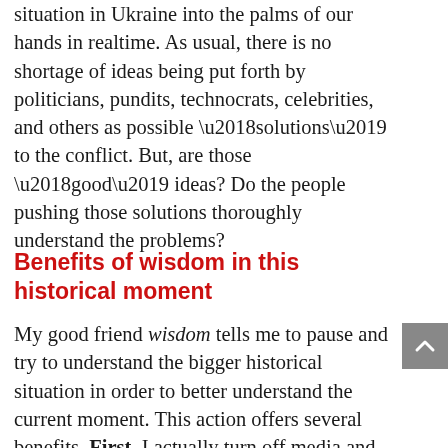situation in Ukraine into the palms of our hands in realtime. As usual, there is no shortage of ideas being put forth by politicians, pundits, technocrats, celebrities, and others as possible ‘solutions’ to the conflict. But, are those ‘good’ ideas? Do the people pushing those solutions thoroughly understand the problems?
Benefits of wisdom in this historical moment
My good friend wisdom tells me to pause and try to understand the bigger historical situation in order to better understand the current moment. This action offers several benefits. First, I actually turn off media and turn on learning. Second, I’m seeking to understand a situation by diving into the history leading up